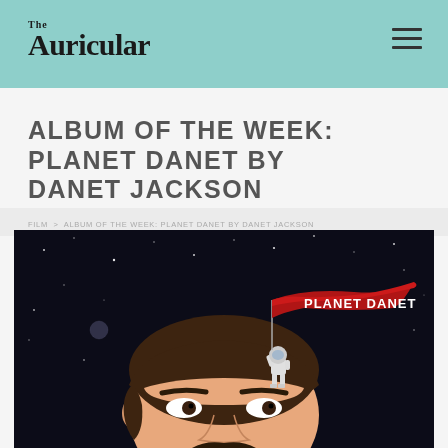The Auricular
ALBUM OF THE WEEK: PLANET DANET BY DANET JACKSON
FILM > ALBUM OF THE WEEK: PLANET DANET BY DANET JACKSON
[Figure (illustration): Album cover art for Planet Danet by Danet Jackson. Illustrated portrait of a man with dark hair and mustache against a starry night sky background. A small astronaut in a white spacesuit stands on top of the man's head, holding a red flag/banner with 'PLANET DANET' written on it in white text.]